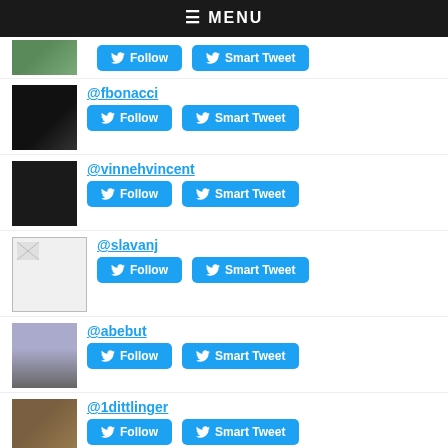≡ MENU
[Figure (photo): Partial user avatar strip at top (cropped)]
@fbonacci
[Figure (photo): Avatar of @fbonacci - black and white profile photo]
@vinnehvincent
[Figure (photo): Avatar of @vinnehvincent - dark photo]
@slavanj
[Figure (photo): Avatar of @slavanj - broken image placeholder]
@abebut
[Figure (photo): Avatar of @abebut - person on rocks outdoors]
@1dittlinger
[Figure (photo): Avatar of @1dittlinger - person with hat]
Top Tweeters in G5:
@eilonwy24
[Figure (photo): Avatar of @eilonwy24 - person in green outdoors]
@littlebirdsteph
[Figure (photo): Avatar of @littlebirdsteph - bird photo]